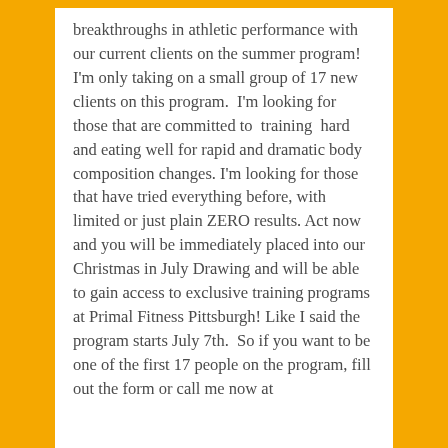breakthroughs in athletic performance with our current clients on the summer program! I'm only taking on a small group of 17 new clients on this program. I'm looking for those that are committed to training hard and eating well for rapid and dramatic body composition changes. I'm looking for those that have tried everything before, with limited or just plain ZERO results. Act now and you will be immediately placed into our Christmas in July Drawing and will be able to gain access to exclusive training programs at Primal Fitness Pittsburgh! Like I said the program starts July 7th. So if you want to be one of the first 17 people on the program, fill out the form or call me now at